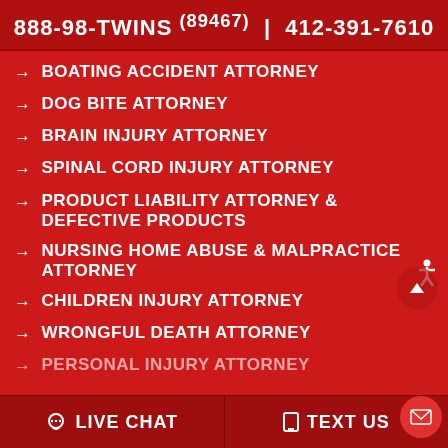888-98-TWINS (89467)  |  412-391-7610
BOATING ACCIDENT ATTORNEY
DOG BITE ATTORNEY
BRAIN INJURY ATTORNEY
SPINAL CORD INJURY ATTORNEY
PRODUCT LIABILITY ATTORNEY & DEFECTIVE PRODUCTS
NURSING HOME ABUSE & MALPRACTICE ATTORNEY
CHILDREN INJURY ATTORNEY
WRONGFUL DEATH ATTORNEY
PERSONAL INJURY ATTORNEY
LIVE CHAT  |  TEXT US